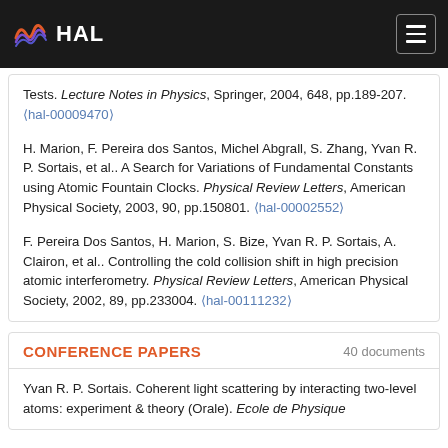HAL
Tests. Lecture Notes in Physics, Springer, 2004, 648, pp.189-207. (hal-00009470)
H. Marion, F. Pereira dos Santos, Michel Abgrall, S. Zhang, Yvan R. P. Sortais, et al.. A Search for Variations of Fundamental Constants using Atomic Fountain Clocks. Physical Review Letters, American Physical Society, 2003, 90, pp.150801. (hal-00002552)
F. Pereira Dos Santos, H. Marion, S. Bize, Yvan R. P. Sortais, A. Clairon, et al.. Controlling the cold collision shift in high precision atomic interferometry. Physical Review Letters, American Physical Society, 2002, 89, pp.233004. (hal-00111232)
CONFERENCE PAPERS 40 documents
Yvan R. P. Sortais. Coherent light scattering by interacting two-level atoms: experiment & theory (Orale). Ecole de Physique